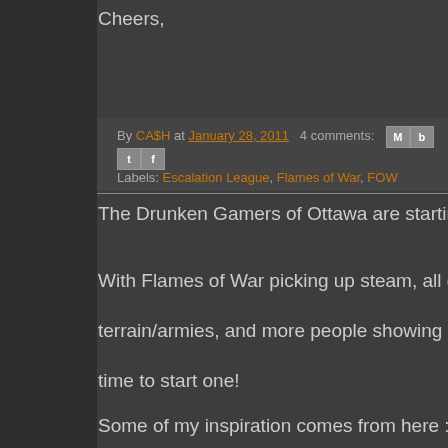Cheers,
By CA$H at January 28, 2011   4 comments:
Labels: Escalation League, Flames of War, FOW
The Drunken Gamers of Ottawa are starting a Flames
With Flames of War picking up steam, all of us busily w
terrain/armies, and more people showing interest ever
time to start one!
Some of my inspiration comes from here :
http://www.flamesofwar.com/hobby.aspx?art_id=2298
We will start out small, say 600 points, 1 HQ and 1 co
and grow from there. This will encourage painting (whi